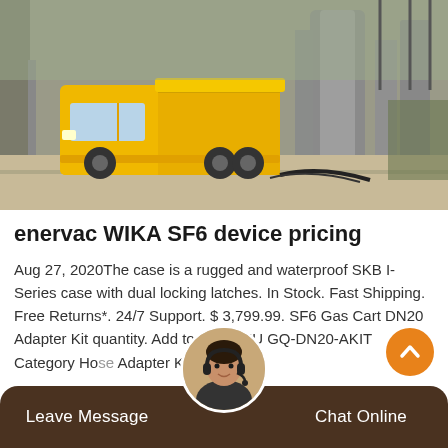[Figure (photo): Yellow utility truck parked at an electrical substation with large industrial equipment and cables in the background]
enervac WIKA SF6 device pricing
Aug 27, 2020The case is a rugged and waterproof SKB I-Series case with dual locking latches. In Stock. Fast Shipping. Free Returns*. 24/7 Support. $ 3,799.99. SF6 Gas Cart DN20 Adapter Kit quantity. Add to cart. SKU GQ-DN20-AKIT Category Hose Adapter Kits.
Leave Message   Chat Online